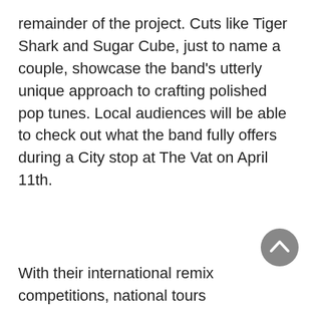remainder of the project. Cuts like Tiger Shark and Sugar Cube, just to name a couple, showcase the band’s utterly unique approach to crafting polished pop tunes. Local audiences will be able to check out what the band fully offers during a City stop at The Vat on April 11th.
[Figure (other): A circular grey scroll-to-top button with an upward-pointing chevron arrow in white.]
With their international remix competitions, national tours